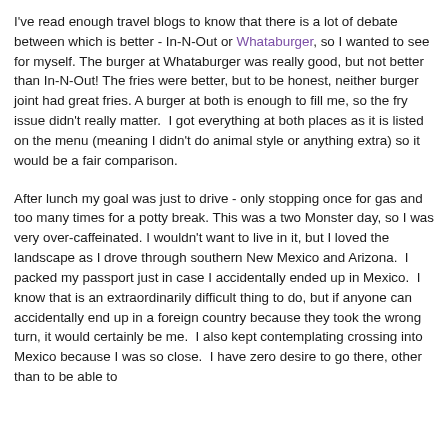I've read enough travel blogs to know that there is a lot of debate between which is better - In-N-Out or Whataburger, so I wanted to see for myself. The burger at Whataburger was really good, but not better than In-N-Out! The fries were better, but to be honest, neither burger joint had great fries. A burger at both is enough to fill me, so the fry issue didn't really matter.  I got everything at both places as it is listed on the menu (meaning I didn't do animal style or anything extra) so it would be a fair comparison.
After lunch my goal was just to drive - only stopping once for gas and too many times for a potty break. This was a two Monster day, so I was very over-caffeinated. I wouldn't want to live in it, but I loved the landscape as I drove through southern New Mexico and Arizona.  I packed my passport just in case I accidentally ended up in Mexico.  I know that is an extraordinarily difficult thing to do, but if anyone can accidentally end up in a foreign country because they took the wrong turn, it would certainly be me.  I also kept contemplating crossing into Mexico because I was so close.  I have zero desire to go there, other than to be able to